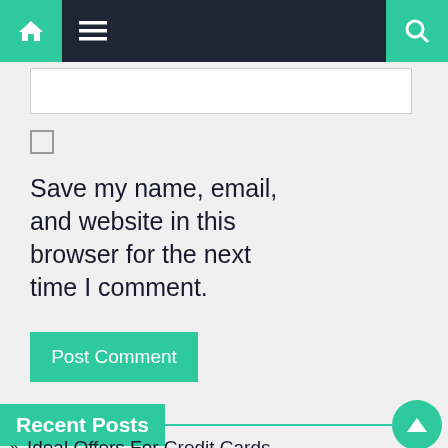Navigation bar with home icon, menu icon, and search icon
Save my name, email, and website in this browser for the next time I comment.
Post Comment
Recent Posts
Ideal Offers For Credit Cards